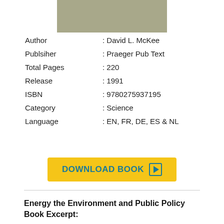[Figure (photo): Book cover image — gray/khaki textured fabric background]
Author : David L. McKee
Publsiher : Praeger Pub Text
Total Pages : 220
Release : 1991
ISBN : 9780275937195
Category : Science
Language : EN, FR, DE, ES & NL
[Figure (other): Yellow download button with text DOWNLOAD BOOK and play icon]
Energy the Environment and Public Policy Book Excerpt: